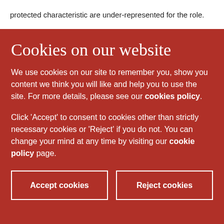protected characteristic are under-represented for the role.
Cookies on our website
We use cookies on our site to remember you, show you content we think you will like and help you to use the site. For more details, please see our cookies policy.
Click 'Accept' to consent to cookies other than strictly necessary cookies or 'Reject' if you do not. You can change your mind at any time by visiting our cookie policy page.
Accept cookies
Reject cookies